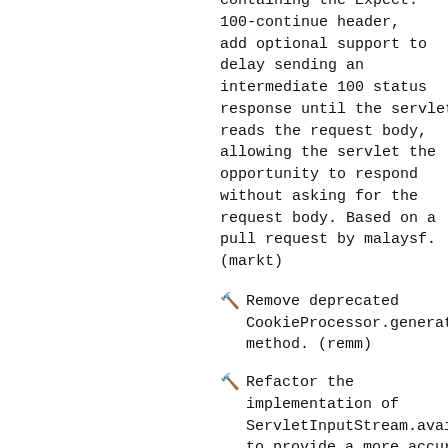containing the Expect: 100-continue header, add optional support to delay sending an intermediate 100 status response until the servlet reads the request body, allowing the servlet the opportunity to respond without asking for the request body. Based on a pull request by malaysf. (markt)
🔨 Remove deprecated CookieProcessor.generate method. (remm)
🔨 Refactor the implementation of ServletInputStream.avail to provide a more accurate return value, particularly when end of stream has been reached. (markt)